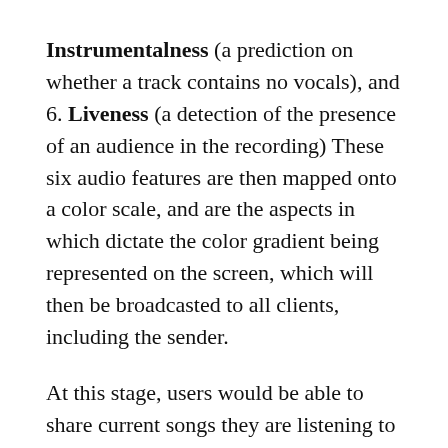Instrumentalness (a prediction on whether a track contains no vocals), and 6. Liveness (a detection of the presence of an audience in the recording) These six audio features are then mapped onto a color scale, and are the aspects in which dictate the color gradient being represented on the screen, which will then be broadcasted to all clients, including the sender.

At this stage, users would be able to share current songs they are listening to and dictate the way in which the "mood" of the room is represented, by changing the color in which room